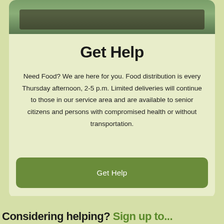[Figure (photo): Photo of a person distributing food, partially visible at the top of the card]
Get Help
Need Food? We are here for you. Food distribution is every Thursday afternoon, 2-5 p.m. Limited deliveries will continue to those in our service area and are available to senior citizens and persons with compromised health or without transportation.
Get Help
Considering helping? Sign up to...